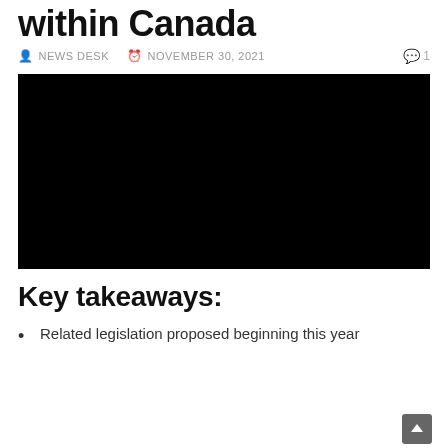within Canada
NEWS DESK  NOVEMBER 30, 2021  1
[Figure (photo): Black image placeholder for embedded video or photograph]
Key takeaways:
Related legislation proposed beginning this year